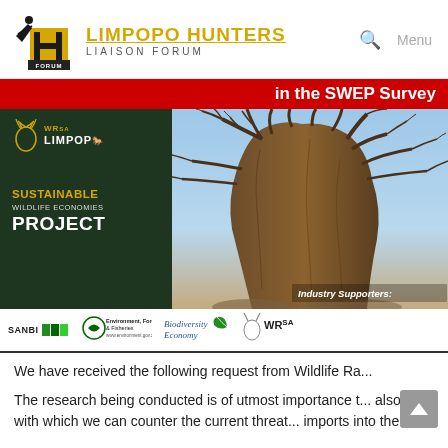[Figure (logo): Limpopo Hunters Liaison Forum logo — hunter silhouette with H letter mark]
LIMPOPO HUNTERS LIAISON FORUM — Menu
[Figure (infographic): WRSA Limpopo Sustainable Wildlife Economies Project banner with baobab tree photo and red header bar reading 'in the SWEP Survey'. Industry Supporters logos: SANBI, Environment Forestry & Fisheries, Biodiversity Economy, WRSA.]
We have received the following request from Wildlife Ra...
The research being conducted is of utmost importance t... also data with which we can counter the current threat... imports into the UK